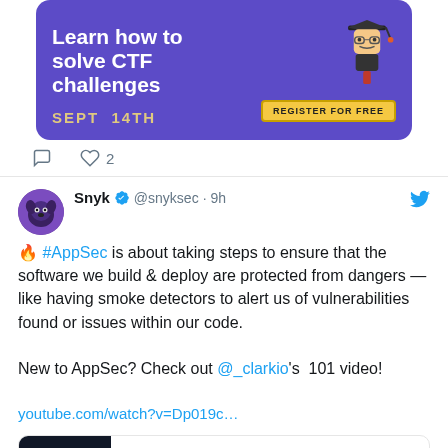[Figure (screenshot): Purple banner ad for CTF challenge event showing 'Learn how to solve CTF challenges', date SEPT 14TH, and REGISTER FOR FREE button with mascot illustration]
2 (likes icon and comment icon interactions)
Snyk ✓ @snyksec · 9h
🔥 #AppSec is about taking steps to ensure that the software we build & deploy are protected from dangers — like having smoke detectors to alert us of vulnerabilities found or issues within our code.

New to AppSec? Check out @_clarkio's  101 video!

youtube.com/watch?v=Dp019c…
[Figure (screenshot): YouTube video preview card showing partial thumbnail with 'at is' text and youtube.com URL]